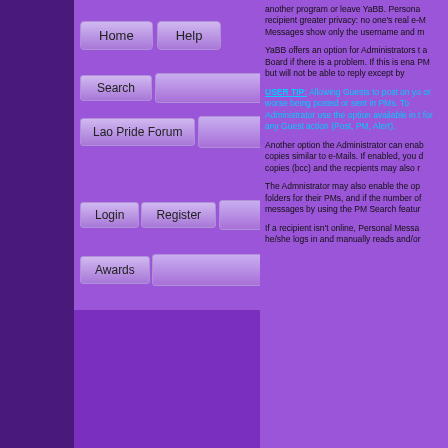Home | Help | Search
Search
Lao Pride Forum
Login | Register
Awards
another program or leave YaBB. Personal Messages show only the username and m...
YaBB offers an option for Administrators to a Board if there is a problem. If this is ena PM but will not be able to reply except by
USER TIP: Allowing Guests to post on yo or worse being posted or sent in PMs. To Administrator use the option available in t for any Guest action (Post, PM, Alert).
Another option the Administrator can enab copies similar to e-Mails. If enabled, you d copies (bcc) and the recpients may also r
The Admnistrator may also enable the op folders for their PMs, and if the number of messages by using the PM Search featur
If a recipient isn't online, Personal Messa he/she logs in and manually reads and/or